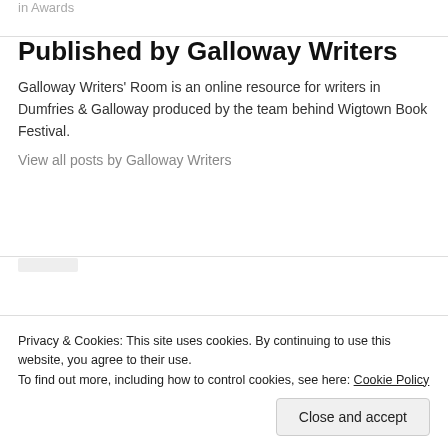in Awards
Published by Galloway Writers
Galloway Writers' Room is an online resource for writers in Dumfries & Galloway produced by the team behind Wigtown Book Festival.
View all posts by Galloway Writers
Privacy & Cookies: This site uses cookies. By continuing to use this website, you agree to their use.
To find out more, including how to control cookies, see here: Cookie Policy
Close and accept